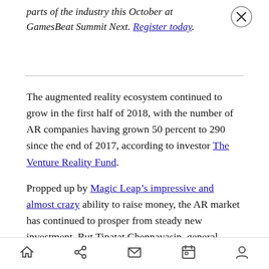parts of the industry this October at GamesBeat Summit Next. Register today.
The augmented reality ecosystem continued to grow in the first half of 2018, with the number of AR companies having grown 50 percent to 290 since the end of 2017, according to investor The Venture Reality Fund.
Propped up by Magic Leap’s impressive and almost crazy ability to raise money, the AR market has continued to prosper from steady new investment. But Tipatat Chennavasin, general partner at The VR Fund, said in an interview with GamesBeat that
Home | Share | Mail | Calendar | Profile